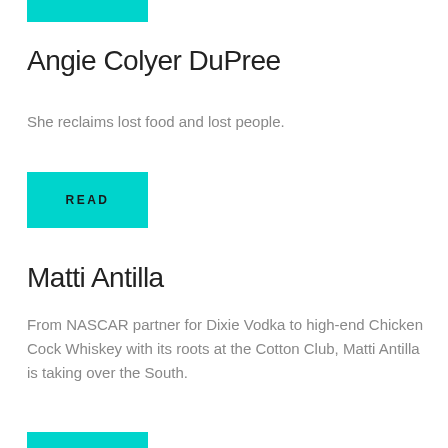[Figure (other): Teal/cyan decorative bar at top]
Angie Colyer DuPree
She reclaims lost food and lost people.
[Figure (other): Teal/cyan READ button]
Matti Antilla
From NASCAR partner for Dixie Vodka to high-end Chicken Cock Whiskey with its roots at the Cotton Club, Matti Antilla is taking over the South.
[Figure (other): Teal/cyan decorative bar at bottom]